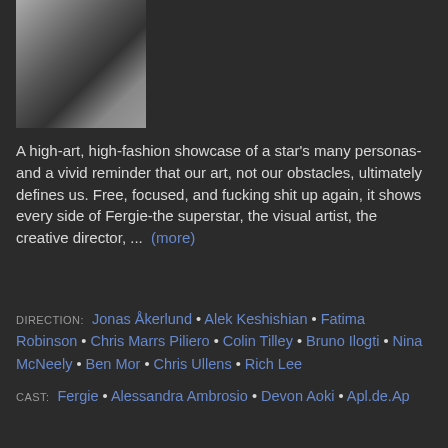[Figure (photo): Black and white photo of a person (partial torso/figure), cropped at top left]
A high-art, high-fashion showcase of a star's many personas-and a vivid reminder that our art, not our obstacles, ultimately defines us. Free, focused, and fucking shit up again, it shows every side of Fergie-the superstar, the visual artist, the creative director, ... (more)
DIRECTION: Jonas Åkerlund • Alek Keshishian • Fatima Robinson • Chris Marrs Piliero • Colin Tilley • Bruno Ilogti • Nina McNeely • Ben Mor • Chris Ullens • Rich Lee
CAST: Fergie • Alessandra Ambrosio • Devon Aoki • Apl.de.Ap